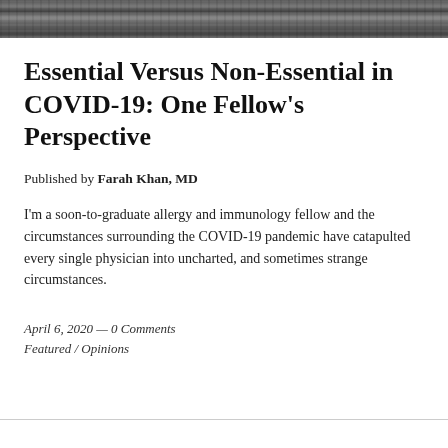[Figure (photo): Grainy black and white header image, appears to be a photograph strip at the top of the page]
Essential Versus Non-Essential in COVID-19: One Fellow's Perspective
Published by Farah Khan, MD
I'm a soon-to-graduate allergy and immunology fellow and the circumstances surrounding the COVID-19 pandemic have catapulted every single physician into uncharted, and sometimes strange circumstances.
April 6, 2020 — 0 Comments
Featured / Opinions